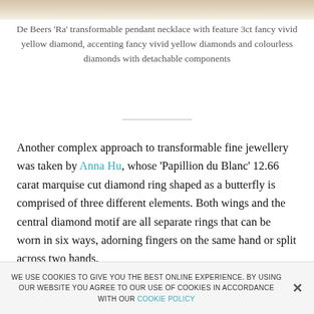[Figure (photo): Top portion of a jewelry image showing a pendant necklace with yellow diamond]
De Beers 'Ra' transformable pendant necklace with feature 3ct fancy vivid yellow diamond, accenting fancy vivid yellow diamonds and colourless diamonds with detachable components
Another complex approach to transformable fine jewellery was taken by Anna Hu, whose 'Papillion du Blanc' 12.66 carat marquise cut diamond ring shaped as a butterfly is comprised of three different elements. Both wings and the central diamond motif are all separate rings that can be worn in six ways, adorning fingers on the same hand or split across two hands.
WE USE COOKIES TO GIVE YOU THE BEST ONLINE EXPERIENCE. BY USING OUR WEBSITE YOU AGREE TO OUR USE OF COOKIES IN ACCORDANCE WITH OUR COOKIE POLICY